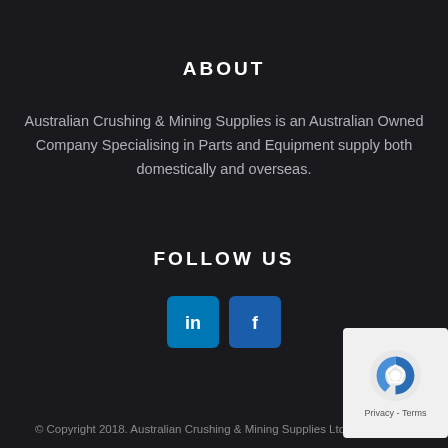ABOUT
Australian Crushing & Mining Supplies is an Australian Owned Company Specialising in Parts and Equipment supply both domestically and overseas.
FOLLOW US
[Figure (logo): LinkedIn and Facebook social media icons]
© Copyright 2018. Australian Crushing & Mining Supplies Ltd
[Figure (other): reCAPTCHA badge with Privacy - Terms text]